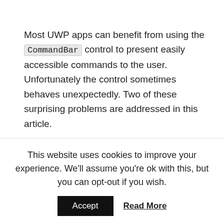Most UWP apps can benefit from using the CommandBar control to present easily accessible commands to the user. Unfortunately the control sometimes behaves unexpectedly. Two of these surprising problems are addressed in this article.
Left-side commands
By default, CommandBar is designed to stack commands on the right side of the control. This allows easy overflow in case screen size is too small ( DynamicOverflow feature
This website uses cookies to improve your experience. We'll assume you're ok with this, but you can opt-out if you wish.